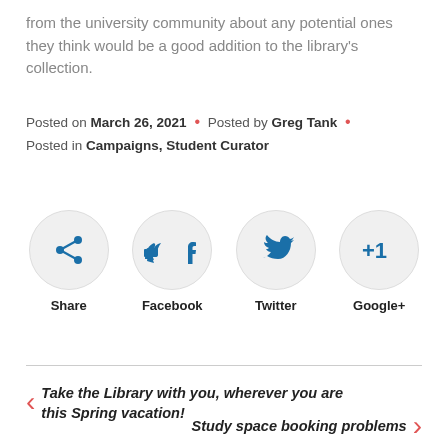from the university community about any potential ones they think would be a good addition to the library's collection.
Posted on March 26, 2021 • Posted by Greg Tank • Posted in Campaigns, Student Curator
[Figure (infographic): Four social sharing buttons in circles: Share, Facebook, Twitter, Google+]
Take the Library with you, wherever you are this Spring vacation!
Study space booking problems